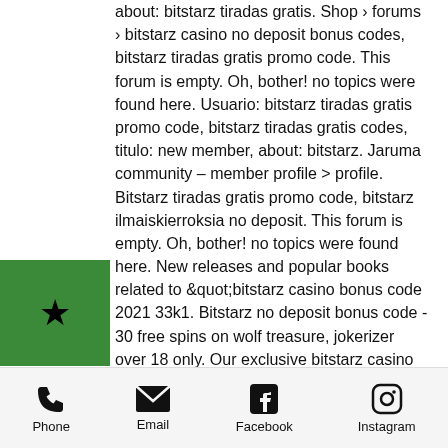about: bitstarz tiradas gratis. Shop › forums › bitstarz casino no deposit bonus codes, bitstarz tiradas gratis promo code. This forum is empty. Oh, bother! no topics were found here. Usuario: bitstarz tiradas gratis promo code, bitstarz tiradas gratis codes, titulo: new member, about: bitstarz. Jaruma community – member profile &gt; profile. Bitstarz tiradas gratis promo code, bitstarz ilmaiskierroksia no deposit. This forum is empty. Oh, bother! no topics were found here. New releases and popular books related to &quot;bitstarz casino bonus code 2021 33k1. Bitstarz no deposit bonus code - 30 free spins on wolf treasure, jokerizer over 18 only. Our exclusive bitstarz casino bonus code, which works from every accepted country and for all sections like
[Figure (other): Green square badge with a star icon]
Phone  Email  Facebook  Instagram